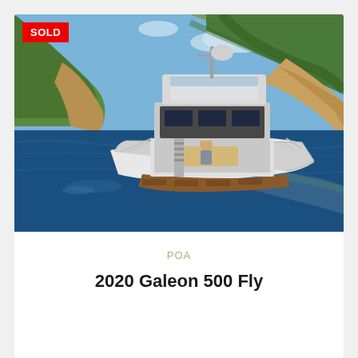[Figure (photo): Aerial/stern view of a Galeon 500 Fly motor yacht on calm blue water near a rocky, tree-covered hillside. The yacht is white with a flybridge, dark interior visible, wooden swim platform, and a person seated in the aft cockpit. A red SOLD badge overlays the top-left corner of the image.]
POA
2020 Galeon 500 Fly